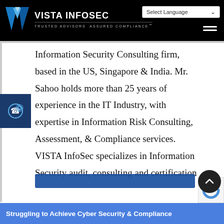VISTA INFOSEC | TRUSTED ADVISORS ASSURED COMPLIANCE™
[Figure (logo): VISTA InfoSec logo — blue angular V shape on black background with brand name and tagline]
Information Security Consulting firm, based in the US, Singapore & India. Mr. Sahoo holds more than 25 years of experience in the IT Industry, with expertise in Information Risk Consulting, Assessment, & Compliance services. VISTA InfoSec specializes in Information Security audit, consulting and certification services which include GDPR, HIPAA, CCPA, NESA, MAS-TRM, PCI DSS
Struggling to Achieve Cyber Security & Compliance